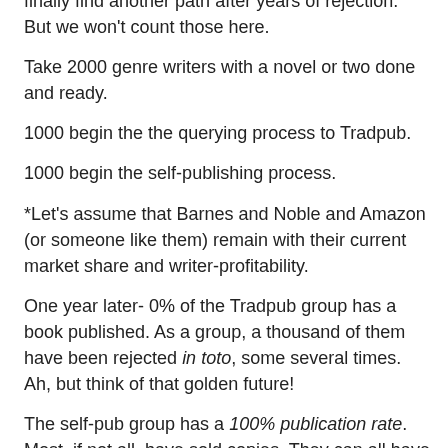finally find another path after years of rejection. But we won't count those here.
Take 2000 genre writers with a novel or two done and ready.
1000 begin the the querying process to Tradpub.
1000 begin the self-publishing process.
*Let's assume that Barnes and Noble and Amazon (or someone like them) remain with their current market share and writer-profitability.
One year later- 0% of the Tradpub group has a book published. As a group, a thousand of them have been rejected in toto, some several times. Ah, but think of that golden future!
The self-pub group has a 100% publication rate. Most, if not all, have sold copies. They can all have print versions of their work in hand. Many have published more books already. Of course, this is not "success" by Tradpub standards, because